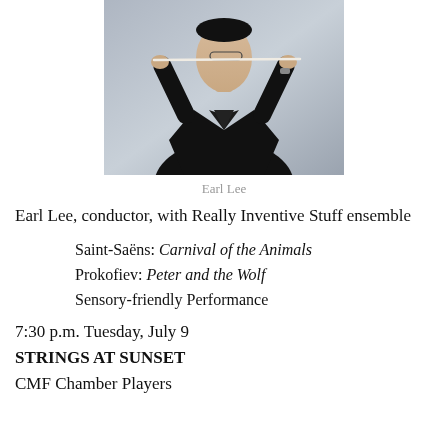[Figure (photo): Photo of Earl Lee, conductor, holding a baton up in front of his face with both hands, wearing a black tuxedo jacket, against a gray background.]
Earl Lee
Earl Lee, conductor, with Really Inventive Stuff ensemble
Saint-Saëns: Carnival of the Animals
Prokofiev: Peter and the Wolf
Sensory-friendly Performance
7:30 p.m. Tuesday, July 9
STRINGS AT SUNSET
CMF Chamber Players